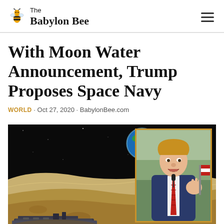The Babylon Bee
With Moon Water Announcement, Trump Proposes Space Navy
WORLD · Oct 27, 2020 · BabylonBee.com
[Figure (photo): Composite image showing aircraft carrier on the moon's surface with Earth rising in the black sky in the background, and an inset photo of Donald Trump speaking at a microphone with a gold border]